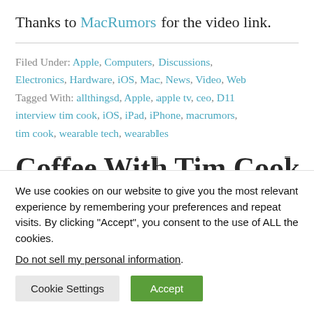Thanks to MacRumors for the video link.
Filed Under: Apple, Computers, Discussions, Electronics, Hardware, iOS, Mac, News, Video, Web
Tagged With: allthingsd, Apple, apple tv, ceo, D11 interview tim cook, iOS, iPad, iPhone, macrumors, tim cook, wearable tech, wearables
Coffee With Tim Cook (partial, cut off)
We use cookies on our website to give you the most relevant experience by remembering your preferences and repeat visits. By clicking “Accept”, you consent to the use of ALL the cookies.
Do not sell my personal information.